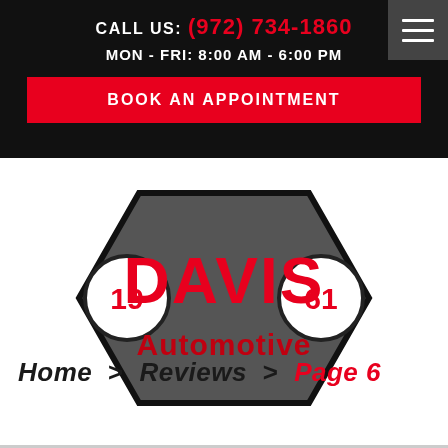CALL US: (972) 734-1860
Mon - Fri: 8:00 AM - 6:00 PM
BOOK AN APPOINTMENT
[Figure (logo): Davis Automotive logo — dark gray hexagon-shaped badge with red 'DAVIS' text and red 'Automotive' text, flanked by two circular emblems reading '19' and '61']
Home > Reviews > Page 6